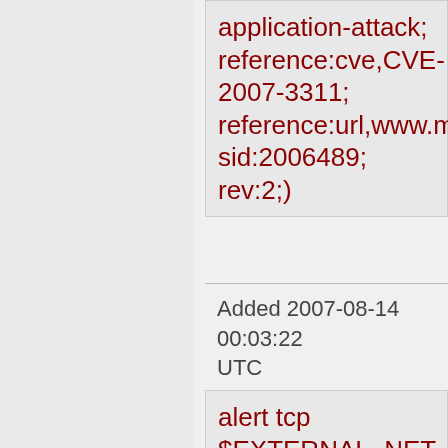application-attack; reference:cve,CVE-2007-3311; reference:url,www.milw0rm sid:2006489; rev:2;)
Added 2007-08-14 00:03:22 UTC
alert tcp $EXTERNAL_NET any -> $HTTP_SERVERS $HTTP_PORTS (msg:"BLEEDING-EDGE WEB Xoops SQL Injection Attempt -- print.php id DELETE"; flow:established,to_serve